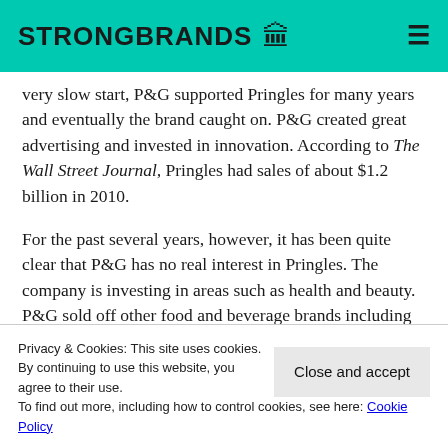STRONGBRANDS
very slow start, P&G supported Pringles for many years and eventually the brand caught on. P&G created great advertising and invested in innovation. According to The Wall Street Journal, Pringles had sales of about $1.2 billion in 2010.
For the past several years, however, it has been quite clear that P&G has no real interest in Pringles. The company is investing in areas such as health and beauty. P&G sold off other food and beverage brands including Crisco, Sunny Delight and Folgers...
Privacy & Cookies: This site uses cookies. By continuing to use this website, you agree to their use. To find out more, including how to control cookies, see here: Cookie Policy
Close and accept